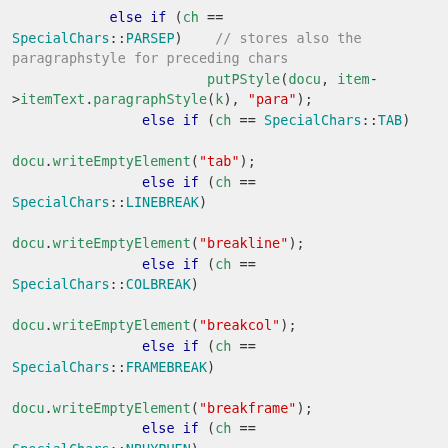else if (ch == SpecialChars::PARSEP)    // stores also the paragraphstyle for preceding chars
                        putPStyle(docu, item->itemText.paragraphStyle(k), "para");
                else if (ch == SpecialChars::TAB)

docu.writeEmptyElement("tab");
                else if (ch == SpecialChars::LINEBREAK)

docu.writeEmptyElement("breakline");
                else if (ch == SpecialChars::COLBREAK)

docu.writeEmptyElement("breakcol");
                else if (ch == SpecialChars::FRAMEBREAK)

docu.writeEmptyElement("breakframe");
                else if (ch == SpecialChars::NBHYPHEN)

docu.writeEmptyElement("nbhyphen");
                else if (ch == SpecialChars::NBSPACE)